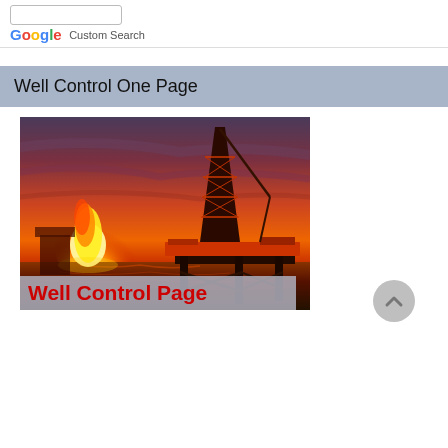Google Custom Search
Well Control One Page
[Figure (photo): Offshore oil drilling rig at sunset/dusk with a large flare burning on the left side. The rig is silhouetted against a dramatic red and orange sky reflected on the water below.]
Well Control Page